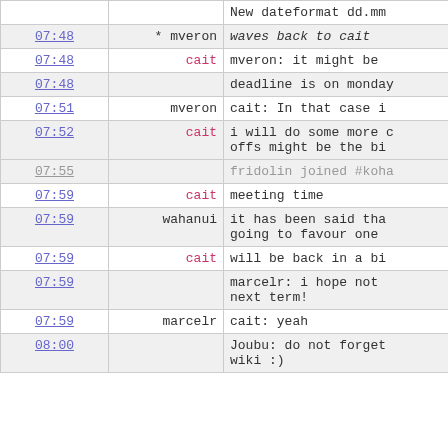| Time | Nick | Message |
| --- | --- | --- |
| 07:48 | * mveron | waves back to cait |
| 07:48 | cait | mveron: it might be |
| 07:48 |  | deadline is on monday |
| 07:51 | mveron | cait: In that case i |
| 07:52 | cait | i will do some more c
offs might be the bi |
| 07:55 |  | fridolin joined #koha |
| 07:59 | cait | meeting time |
| 07:59 | wahanui | it has been said tha
going to favour one |
| 07:59 | cait | will be back in a bi |
| 07:59 |  | marcelr: i hope not 
next term! |
| 07:59 | marcelr | cait: yeah |
| 08:00 |  | Joubu: do not forget
wiki :) |